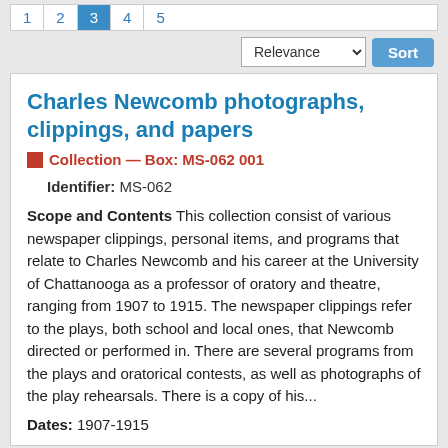1 2 3 4 5 (pagination)
Relevance Sort
Charles Newcomb photographs, clippings, and papers
Collection — Box: MS-062 001
Identifier: MS-062
Scope and Contents This collection consist of various newspaper clippings, personal items, and programs that relate to Charles Newcomb and his career at the University of Chattanooga as a professor of oratory and theatre, ranging from 1907 to 1915. The newspaper clippings refer to the plays, both school and local ones, that Newcomb directed or performed in. There are several programs from the plays and oratorical contests, as well as photographs of the play rehearsals. There is a copy of his...
Dates: 1907-1915